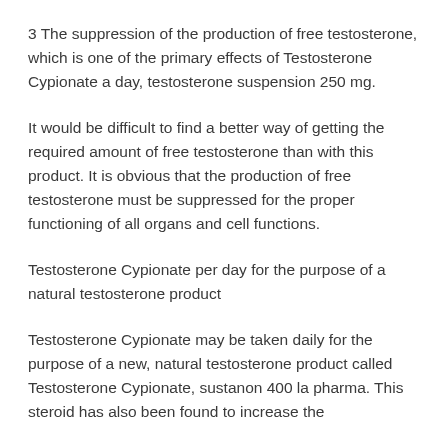3 The suppression of the production of free testosterone, which is one of the primary effects of Testosterone Cypionate a day, testosterone suspension 250 mg.
It would be difficult to find a better way of getting the required amount of free testosterone than with this product. It is obvious that the production of free testosterone must be suppressed for the proper functioning of all organs and cell functions.
Testosterone Cypionate per day for the purpose of a natural testosterone product
Testosterone Cypionate may be taken daily for the purpose of a new, natural testosterone product called Testosterone Cypionate, sustanon 400 la pharma. This steroid has also been found to increase the